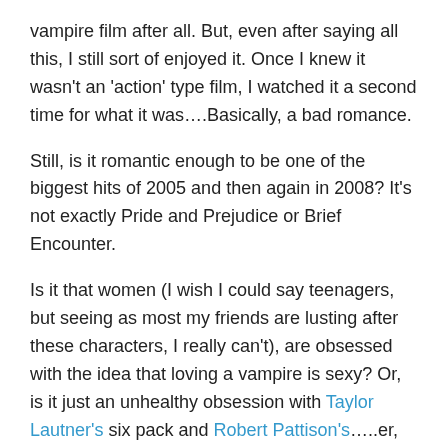vampire film after all. But, even after saying all this, I still sort of enjoyed it. Once I knew it wasn't an 'action' type film, I watched it a second time for what it was….Basically, a bad romance.
Still, is it romantic enough to be one of the biggest hits of 2005 and then again in 2008? It's not exactly Pride and Prejudice or Brief Encounter.
Is it that women (I wish I could say teenagers, but seeing as most my friends are lusting after these characters, I really can't), are obsessed with the idea that loving a vampire is sexy? Or, is it just an unhealthy obsession with Taylor Lautner's six pack and Robert Pattison's…..er, what does he have?
So, armed with all this information, and while waiting for